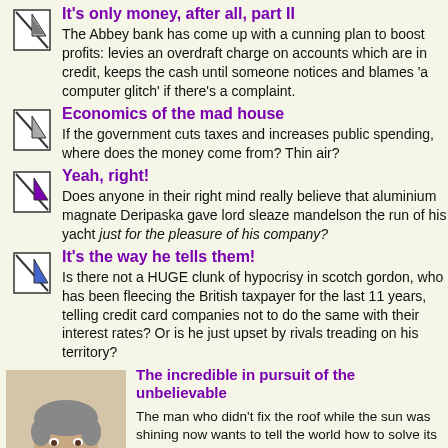It's only money, after all, part II
The Abbey bank has come up with a cunning plan to boost profits: levies an overdraft charge on accounts which are in credit, keeps the cash until someone notices and blames 'a computer glitch' if there's a complaint.
Economics of the mad house
If the government cuts taxes and increases public spending, where does the money come from? Thin air?
Yeah, right!
Does anyone in their right mind really believe that aluminium magnate Deripaska gave lord sleaze mandelson the run of his yacht just for the pleasure of his company?
It's the way he tells them!
Is there not a HUGE clunk of hypocrisy in scotch gordon, who has been fleecing the British taxpayer for the last 11 years, telling credit card companies not to do the same with their interest rates? Or is he just upset by rivals treading on his territory?
[Figure (photo): Photo of a man smiling, with grey hair, wearing a white collar shirt]
The incredible in pursuit of the unbelievable
The man who didn't fix the roof while the sun was shining now wants to tell the world how to solve its current financial mess.
    Pull the other one!
Tax the rich, but not yet